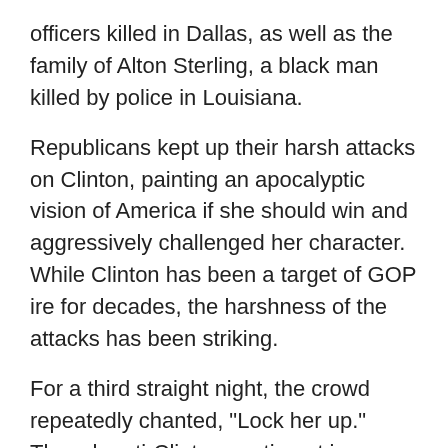officers killed in Dallas, as well as the family of Alton Sterling, a black man killed by police in Louisiana.
Republicans kept up their harsh attacks on Clinton, painting an apocalyptic vision of America if she should win and aggressively challenged her character. While Clinton has been a target of GOP ire for decades, the harshness of the attacks has been striking.
For a third straight night, the crowd repeatedly chanted, "Lock her up." Though anti-Clinton sentiment is an easy way to bring Republicans together, the negativity crossed the line for some in the party.
"Certainly races can be won based on focusing on the opponent," said Sen. Bob Corker of Tennessee. "But I think we're at a place in our country's evolution where